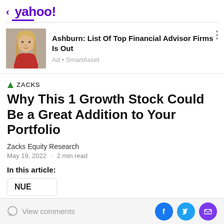< yahoo!
[Figure (photo): Advertisement with photo of a blonde woman in a red top]
Ashburn: List Of Top Financial Advisor Firms Is Out
Ad • SmartAsset
▲ ZACKS
Why This 1 Growth Stock Could Be a Great Addition to Your Portfolio
Zacks Equity Research
May 19, 2022 · 2 min read
In this article:
NUE
View comments